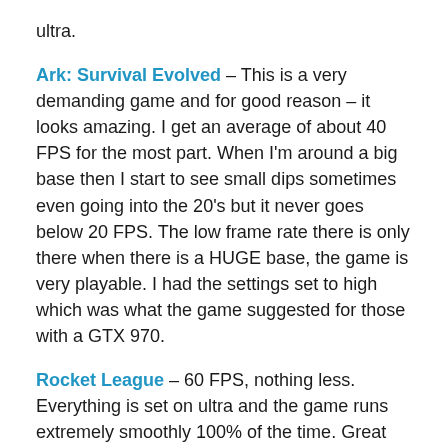ultra.
Ark: Survival Evolved – This is a very demanding game and for good reason – it looks amazing. I get an average of about 40 FPS for the most part. When I'm around a big base then I start to see small dips sometimes even going into the 20's but it never goes below 20 FPS. The low frame rate there is only there when there is a HUGE base, the game is very playable. I had the settings set to high which was what the game suggested for those with a GTX 970.
Rocket League – 60 FPS, nothing less. Everything is set on ultra and the game runs extremely smoothly 100% of the time. Great looking game, the 970 does it justice.